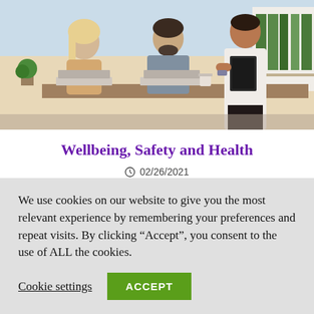[Figure (photo): Office scene with three people: a woman with blonde hair working on a laptop on the left, a bearded man in a grey shirt using a laptop in the middle, and a standing man in a white shirt holding a clipboard/tablet on the right. Office environment with shelving, plants, and binders visible.]
Wellbeing, Safety and Health
02/26/2021
We use cookies on our website to give you the most relevant experience by remembering your preferences and repeat visits. By clicking “Accept”, you consent to the use of ALL the cookies.
Cookie settings
ACCEPT